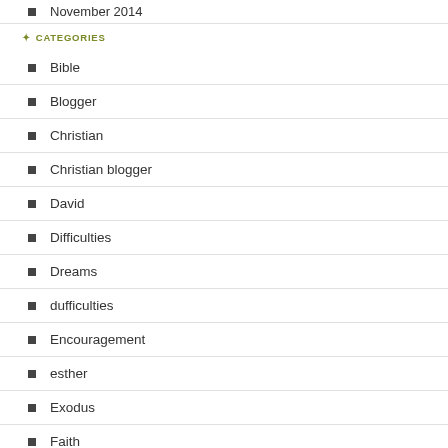November 2014
CATEGORIES
Bible
Blogger
Christian
Christian blogger
David
Difficulties
Dreams
dufficulties
Encouragement
esther
Exodus
Faith
fornication